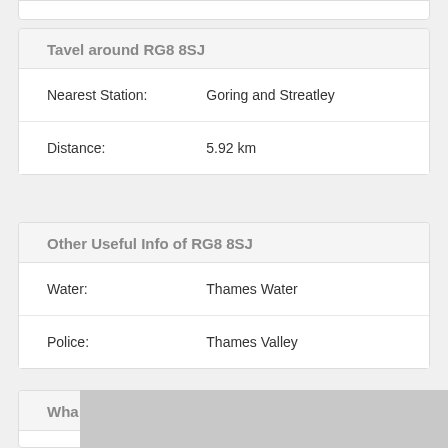Tavel around RG8 8SJ
|  |  |
| --- | --- |
| Nearest Station: | Goring and Streatley |
| Distance: | 5.92 km |
Other Useful Info of RG8 8SJ
|  |  |
| --- | --- |
| Water: | Thames Water |
| Police: | Thames Valley |
Wha...